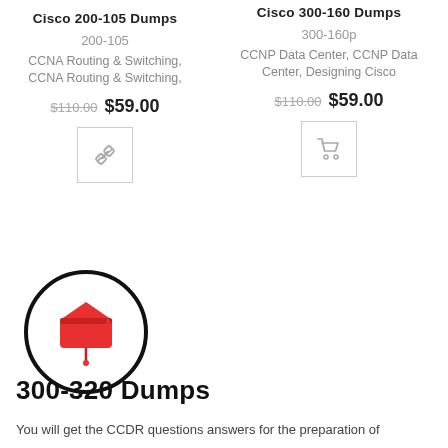Cisco 200-105 Dumps
200-105
CCNA Routing & Switching, CCNA Routing & Switching,
$110.00  $59.00
[Figure (other): Link/chain icon button inside a bordered square]
Cisco 300-160 Dumps
300-160p
CCNP Data Center, CCNP Data Center, Designing Cisco
$110.00  $59.00
[Figure (other): Shopping cart icon button inside a bordered square]
[Figure (logo): Red graduation cap icon inside a black circle]
300-320 Dumps
You will get the CCDR questions answers for the preparation of